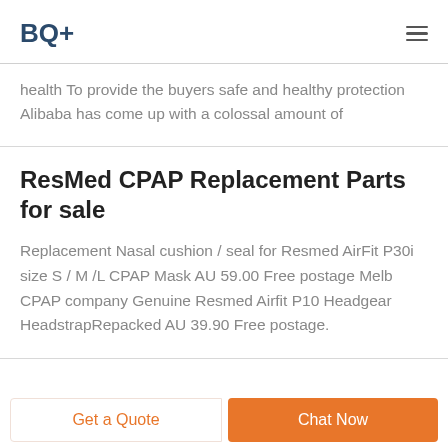BQ+
health To provide the buyers safe and healthy protection Alibaba has come up with a colossal amount of
ResMed CPAP Replacement Parts for sale
Replacement Nasal cushion / seal for Resmed AirFit P30i size S / M /L CPAP Mask AU 59.00 Free postage Melb CPAP company Genuine Resmed Airfit P10 Headgear HeadstrapRepacked AU 39.90 Free postage.